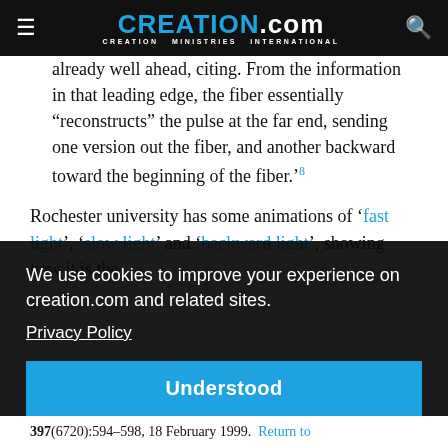CREATION.com — CREATION MINISTRIES INTERNATIONAL
already well ahead, citing. From the information in that leading edge, the fiber essentially "reconstructs" the pulse at the far end, sending one version out the fiber, and another backward toward the beginning of the fiber.'8
Rochester university has some animations of 'fast light', 'slow light' and 'backward light', showing how it is the
We use cookies to improve your experience on creation.com and related sites.
Privacy Policy
Understood
ozi,
397(6720):594–598, 18 February 1999. Return to